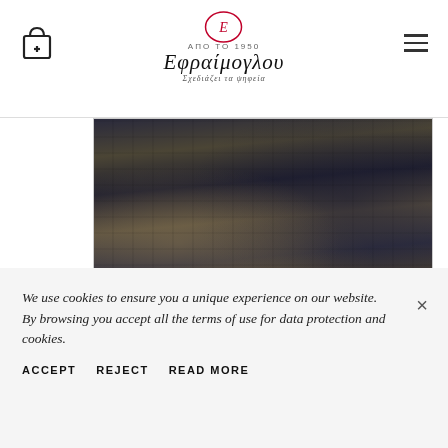Εφραίμογλου
[Figure (photo): Close-up of a dark charcoal and beige handmade rug from India, showing intricate traditional patterns]
ALL CATEGORIES
HANDMADE RUG INDIA MELODY AGRA CHARCOAL – BEIGE 251×305
5,200.00€  2,600.00€
We use cookies to ensure you a unique experience on our website.
By browsing you accept all the terms of use for data protection and cookies.
ACCEPT
REJECT
READ MORE